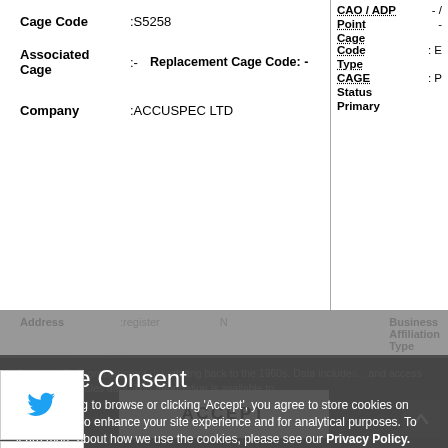| Field | Value | Right Field | Right Value |
| --- | --- | --- | --- |
| Cage Code | S5258 | CAO / ADP | -/ |
|  |  | Point | - |
| Associated Cage | - | Cage Code | E |
|  | Replacement Cage Code: - | Type |  |
| Company | ACCUSPEC LTD | CAGE Status | P |
|  |  | Primary |  |
| Address | register | Business Affiliation Type | N |
|  |  | Farmer Size | N |
|  |  | Business Type |  |
|  |  | Woman | N |
Cookie Consent
By continuing to browse or clicking 'Accept', you agree to store cookies on your device to enhance your site experience and for analytical purposes. To learn more about how we use the cookies, please see our Privacy Policy.
Additional Reporting Available:
Complete DoD procurement data dating back to the 1960s. Data includes... and access to DoD email sales data. This information is available to
ACCEPT